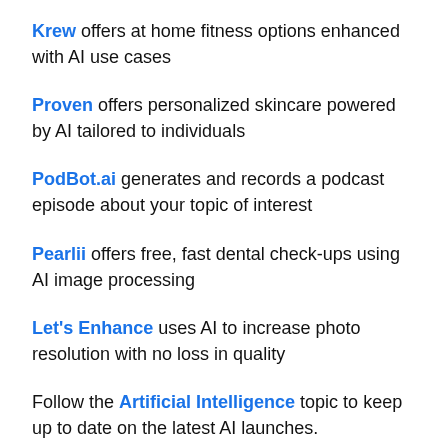Krew offers at home fitness options enhanced with AI use cases
Proven offers personalized skincare powered by AI tailored to individuals
PodBot.ai generates and records a podcast episode about your topic of interest
Pearlii offers free, fast dental check-ups using AI image processing
Let's Enhance uses AI to increase photo resolution with no loss in quality
Follow the Artificial Intelligence topic to keep up to date on the latest AI launches.
[Figure (other): Orange button/call-to-action element]